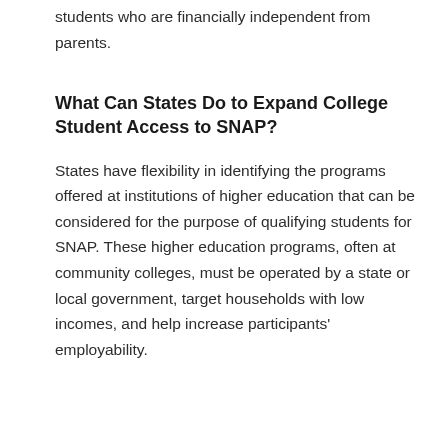students who are financially independent from parents.
What Can States Do to Expand College Student Access to SNAP?
States have flexibility in identifying the programs offered at institutions of higher education that can be considered for the purpose of qualifying students for SNAP. These higher education programs, often at community colleges, must be operated by a state or local government, target households with low incomes, and help increase participants' employability.